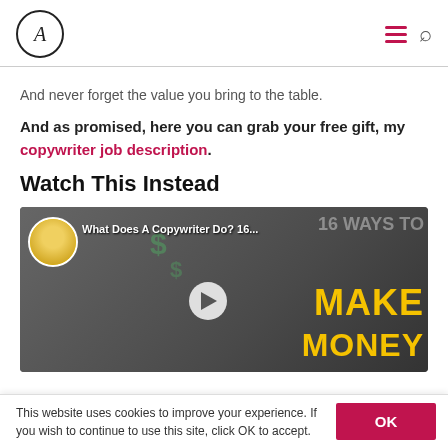A (logo) | hamburger menu | search icon
And never forget the value you bring to the table.
And as promised, here you can grab your free gift, my copywriter job description.
Watch This Instead
[Figure (screenshot): YouTube video thumbnail showing a woman's face with text 'What Does A Copywriter Do? 16...' and background graphic '16 WAYS TO MAKE MONEY']
This website uses cookies to improve your experience. If you wish to continue to use this site, click OK to accept.